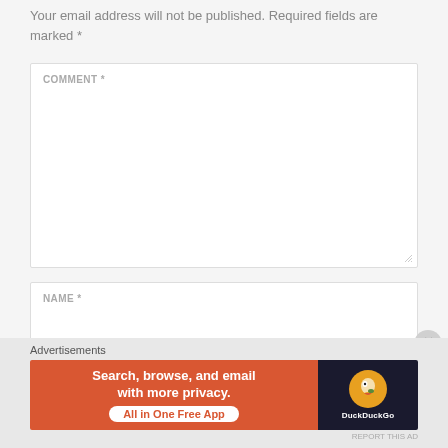Your email address will not be published. Required fields are marked *
COMMENT *
NAME *
Advertisements
[Figure (screenshot): DuckDuckGo advertisement banner: orange section with text 'Search, browse, and email with more privacy. All in One Free App' and dark section with DuckDuckGo logo]